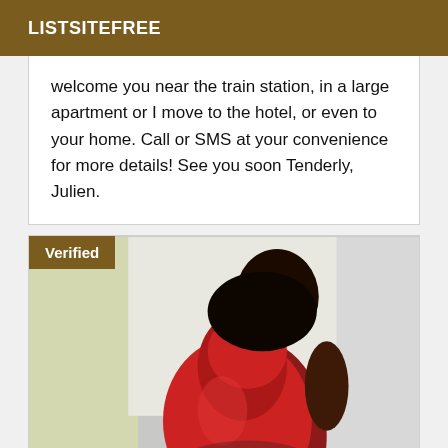LISTSITEFREE
welcome you near the train station, in a large apartment or I move to the hotel, or even to your home. Call or SMS at your convenience for more details! See you soon Tenderly, Julien.
[Figure (photo): Photo of a woman in a red dress sitting on a white bed, with a 'Verified' badge overlay in the top-left corner.]